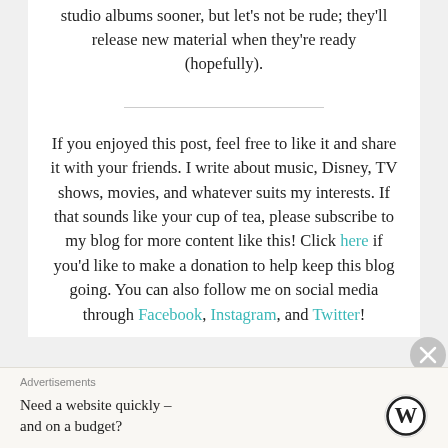studio albums sooner, but let's not be rude; they'll release new material when they're ready (hopefully).
If you enjoyed this post, feel free to like it and share it with your friends. I write about music, Disney, TV shows, movies, and whatever suits my interests. If that sounds like your cup of tea, please subscribe to my blog for more content like this! Click here if you'd like to make a donation to help keep this blog going. You can also follow me on social media through Facebook, Instagram, and Twitter!
Advertisements
Need a website quickly – and on a budget?